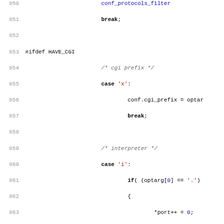[Figure (screenshot): Source code listing showing C code lines 850-882, with syntax highlighting. Line numbers in grey on left, preprocessor directives, case statements, function calls, and control flow in various colors.]